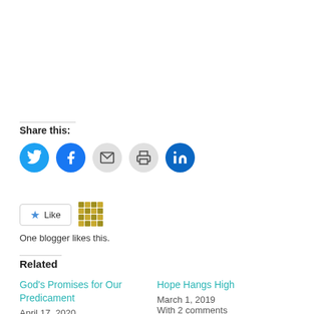Share this:
[Figure (other): Social share buttons: Twitter, Facebook, Email, Print, LinkedIn as colored circles]
[Figure (other): Like button with star icon and blogger avatar icon. Text: One blogger likes this.]
One blogger likes this.
Related
God's Promises for Our Predicament
April 17, 2020
Hope Hangs High
March 1, 2019
With 2 comments